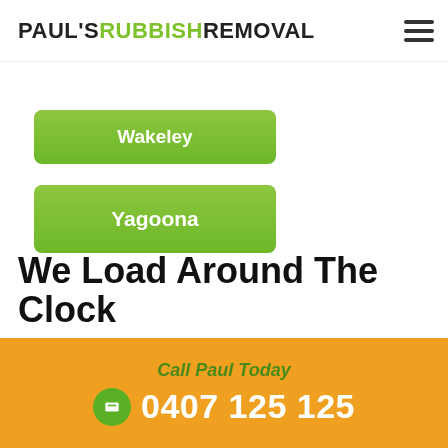PAUL'S RUBBISH REMOVAL
Wakeley
Yagoona
We Load Around The Clock
Call Paul Today
0407 125 125